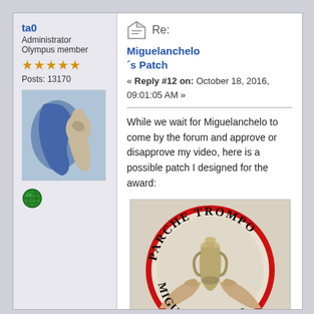ta0
Administrator
Olympus member
★★★★★
Posts: 13170
[Figure (illustration): Forum avatar showing a blue silhouette of a map with a classical figure sculpture]
[Figure (illustration): Globe icon (green world icon)]
Re:
Miguelanchelo´s Patch
« Reply #12 on: October 18, 2016, 09:01:05 AM »
While we wait for Miguelanchelo to come by the forum and approve or disapprove my video, here is a possible patch I designed for the award:
[Figure (illustration): Circular patch design with red border. Text reads 'PARCHE TROMPO' at top and 'MIGUELANCHELO' at bottom. Center shows classical painting of hands and an amphora/vase.]